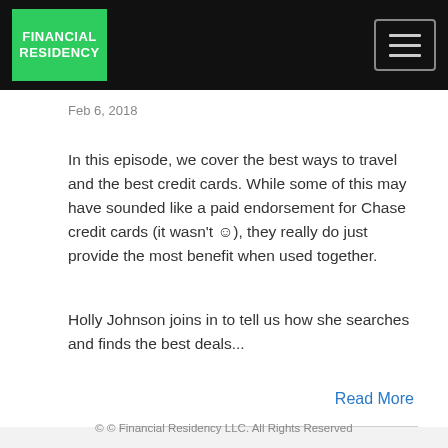Financial Residency
Feb 6, 2018
In this episode, we cover the best ways to travel and the best credit cards. While some of this may have sounded like a paid endorsement for Chase credit cards (it wasn't ☺), they really do just provide the most benefit when used together.
Holly Johnson joins in to tell us how she searches and finds the best deals...
Read More
© © Financial Residency LLC. All Rights Reserved